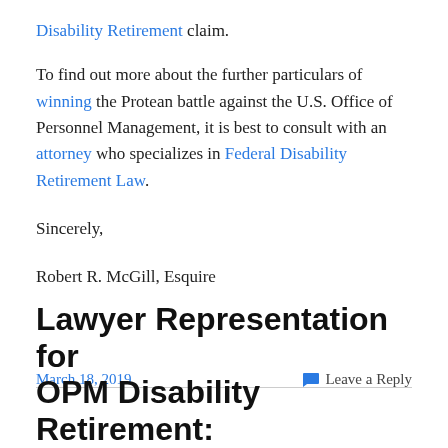Disability Retirement claim.
To find out more about the further particulars of winning the Protean battle against the U.S. Office of Personnel Management, it is best to consult with an attorney who specializes in Federal Disability Retirement Law.
Sincerely,
Robert R. McGill, Esquire
March 18, 2019
Leave a Reply
Lawyer Representation for OPM Disability Retirement: